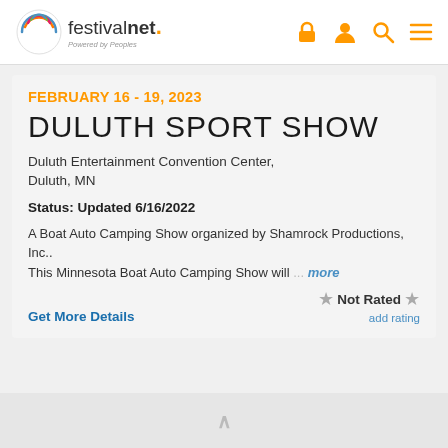festivalnet. Powered by Peoples
FEBRUARY 16 - 19, 2023
DULUTH SPORT SHOW
Duluth Entertainment Convention Center, Duluth, MN
Status: Updated 6/16/2022
A Boat Auto Camping Show organized by Shamrock Productions, Inc.. This Minnesota Boat Auto Camping Show will ... more
Get More Details
Not Rated
add rating